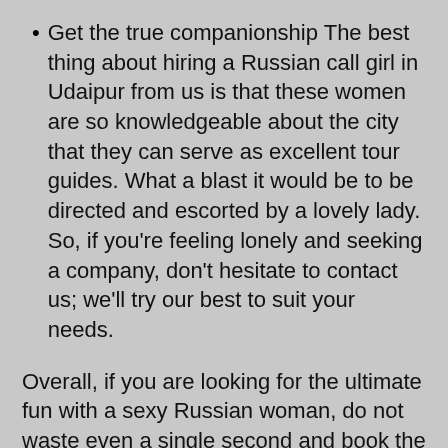Get the true companionship The best thing about hiring a Russian call girl in Udaipur from us is that these women are so knowledgeable about the city that they can serve as excellent tour guides. What a blast it would be to be directed and escorted by a lovely lady. So, if you're feeling lonely and seeking a company, don't hesitate to contact us; we'll try our best to suit your needs.
Overall, if you are looking for the ultimate fun with a sexy Russian woman, do not waste even a single second and book the services now!